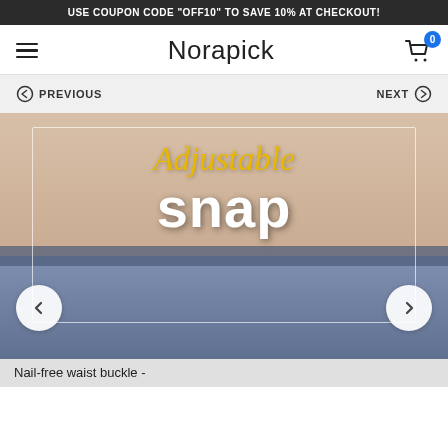USE COUPON CODE "OFF10" TO SAVE 10% AT CHECKOUT!
Norapick
PREVIOUS
NEXT
[Figure (photo): Product photo showing a person's midsection wearing jeans with belt. Overlaid text reads 'Adjustable snap' in gold italic and white bold fonts. Navigation arrows on left and right. Caption at bottom: 'Nail-free waist buckle -']